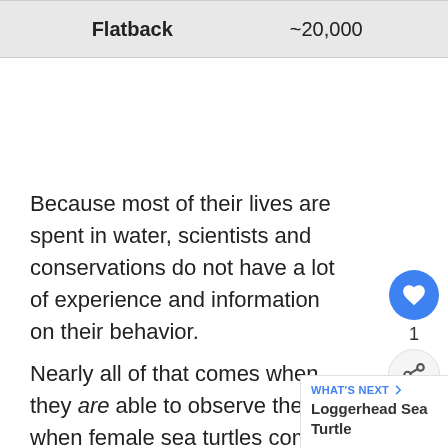| Species | Population |
| --- | --- |
| Flatback | ~20,000 |
Because most of their lives are spent in water, scientists and conservations do not have a lot of experience and information on their behavior.
Nearly all of that comes when they are able to observe them, when female sea turtles come ashore to nest and lay their eggs.